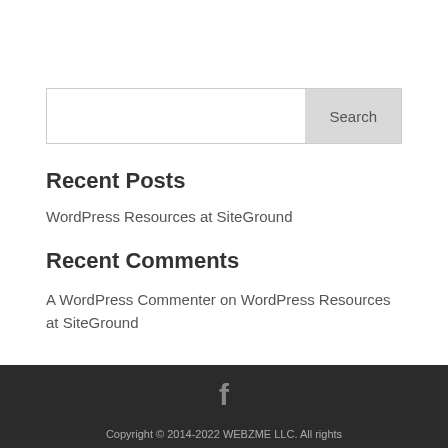[Figure (other): Search input box with a Search button on the right side]
Recent Posts
WordPress Resources at SiteGround
Recent Comments
A WordPress Commenter on WordPress Resources at SiteGround
Copyright © 2014-2022 WEBZME LLC. All rights